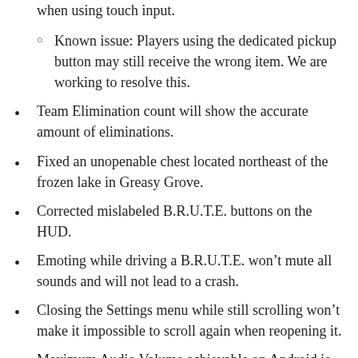when using touch input.
Known issue: Players using the dedicated pickup button may still receive the wrong item. We are working to resolve this.
Team Elimination count will show the accurate amount of eliminations.
Fixed an unopenable chest located northeast of the frozen lake in Greasy Grove.
Corrected mislabeled B.R.U.T.E. buttons on the HUD.
Emoting while driving a B.R.U.T.E. won’t mute all sounds and will not lead to a crash.
Closing the Settings menu while still scrolling won’t make it impossible to scroll again when reopening it.
Maximum Audio Volume achievable on Android is